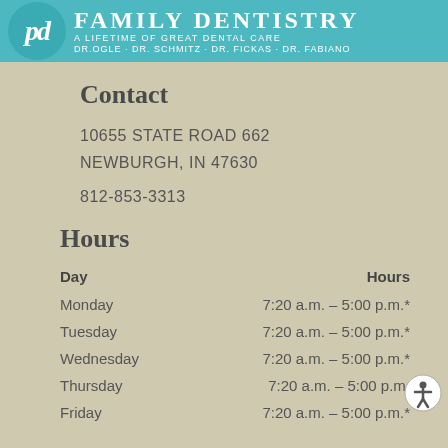[Figure (logo): Family Dentistry logo banner with teal background, circular PD monogram, 'FAMILY DENTISTRY' text, 'A Lifetime of Great Dental Care', and 'DR. OGLE · DR. SCHMITZ · DR. FICKAS · DR. FABIANO']
Contact
10655 STATE ROAD 662
NEWBURGH, IN 47630
812-853-3313
Hours
| Day | Hours |
| --- | --- |
| Monday | 7:20 a.m. – 5:00 p.m.* |
| Tuesday | 7:20 a.m. – 5:00 p.m.* |
| Wednesday | 7:20 a.m. – 5:00 p.m.* |
| Thursday | 7:20 a.m. – 5:00 p.m. |
| Friday | 7:20 a.m. – 5:00 p.m.* |